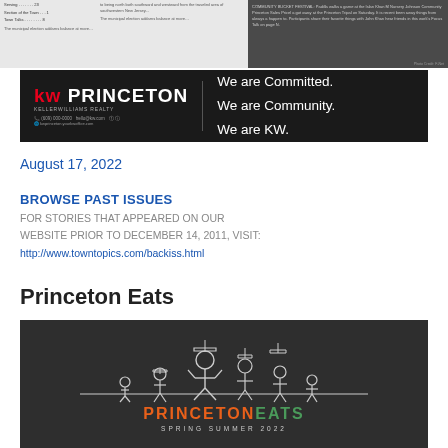[Figure (screenshot): Top portion of a newspaper page with article snippets and a dark sidebar image]
[Figure (logo): KW Princeton Keller Williams Realty banner advertisement on dark background with text: We are Committed. We are Community. We are KW.]
August 17, 2022
BROWSE PAST ISSUES
FOR STORIES THAT APPEARED ON OUR WEBSITE PRIOR TO DECEMBER 14, 2011, VISIT: http://www.towntopics.com/backiss.html
Princeton Eats
[Figure (illustration): Dark background image showing line-art illustration of graduating figures throwing caps, with text PRINCETON EATS SPRING SUMMER 2022 at bottom. PRINCETON in orange, EATS in green.]